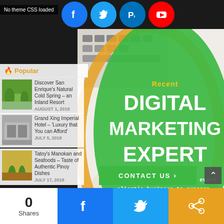No theme CSS loaded
[Figure (screenshot): Social media icons: Facebook (blue), Twitter (blue), Pinterest/P (blue), YouTube (red) displayed in circles at top]
Popular
[Figure (photo): Outdoor resort/pool area with trees and umbrellas]
Discover San Enrique's Natural Cold Spring – an Inland Resort
AUGUST 1, 2018
[Figure (photo): Modern building/hotel exterior]
Grand Xing Imperial Hotel – 'Luxury that You can Afford'
JULY 5, 2018
[Figure (photo): Outdoor resort or restaurant with palm trees]
Tatoy's Manokan and Seafoods – Taste of Authentic Pinoy Dishes
JULY 17, 2018
[Figure (infographic): Digital marketing banner with green circle on white background showing shopping cart and keyboard, with orange arc border]
Recent
DIGITAL MARKETING EXPERT
We are committed to bring every client's business to success. Contact us now!.
CONTACT US
0
Shares
[Figure (logo): Facebook share icon (white F on blue)]
[Figure (logo): Twitter share icon (white bird on light blue)]
[Figure (logo): Share more icon (white share arrows on orange)]